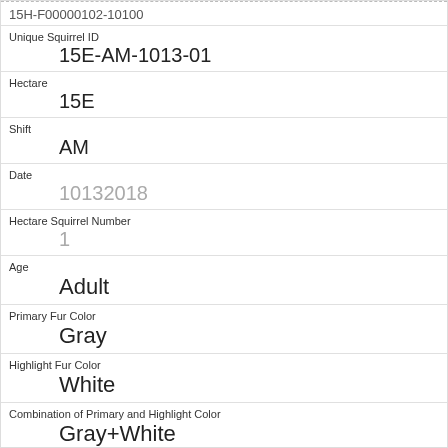Unique Squirrel ID: 15E-AM-1013-01
Hectare: 15E
Shift: AM
Date: 10132018
Hectare Squirrel Number: 1
Age: Adult
Primary Fur Color: Gray
Highlight Fur Color: White
Combination of Primary and Highlight Color: Gray+White
Color notes